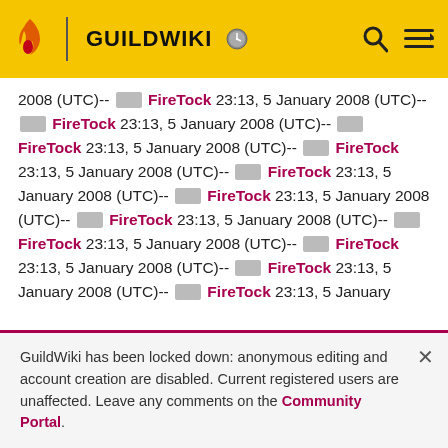GUILDWIKI
2008 (UTC)-- [redacted] FireTock 23:13, 5 January 2008 (UTC)-- [redacted] FireTock 23:13, 5 January 2008 (UTC)-- [redacted] FireTock 23:13, 5 January 2008 (UTC)-- [redacted] FireTock 23:13, 5 January 2008 (UTC)-- [redacted] FireTock 23:13, 5 January 2008 (UTC)-- [redacted] FireTock 23:13, 5 January 2008 (UTC)-- [redacted] FireTock 23:13, 5 January 2008 (UTC)-- [redacted] FireTock 23:13, 5 January 2008 (UTC)-- [redacted] FireTock 23:13, 5 January 2008 (UTC)-- [redacted] FireTock 23:13, 5 January 2008 (UTC)-- [redacted] FireTock 23:13, 5 January
GuildWiki has been locked down: anonymous editing and account creation are disabled. Current registered users are unaffected. Leave any comments on the Community Portal.